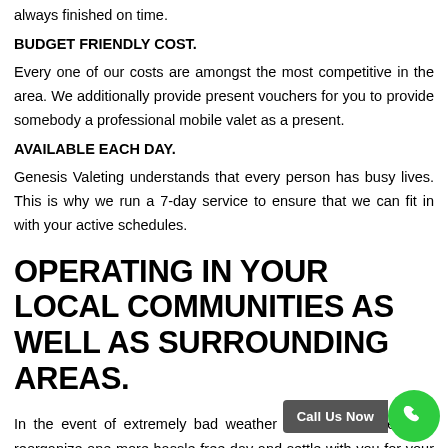always finished on time.
BUDGET FRIENDLY COST.
Every one of our costs are amongst the most competitive in the area. We additionally provide present vouchers for you to provide somebody a professional mobile valet as a present.
AVAILABLE EACH DAY.
Genesis Valeting understands that every person has busy lives. This is why we run a 7-day service to ensure that we can fit in with your active schedules.
OPERATING IN YOUR LOCAL COMMUNITIES AS WELL AS SURROUNDING AREAS.
In the event of extremely bad weather condition, we certainly reorganize one more hassle-free day and settle with you for your valet. We invite Exclusive and also Light